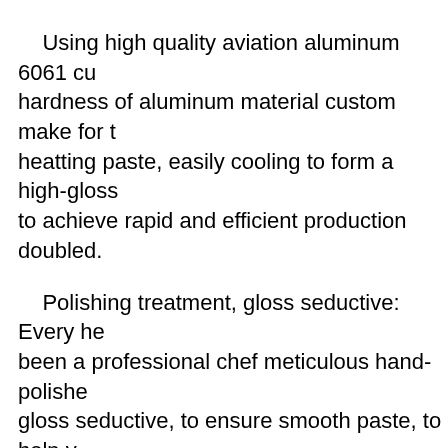Using high quality aviation aluminum 6061 cu hardness of aluminum material custom make for t heatting paste, easily cooling to form a high-gloss to achieve rapid and efficient production doubled.
Polishing treatment, gloss seductive: Every he been a professional chef meticulous hand-polishe gloss seductive, to ensure smooth paste, to help y production.
6 cavity lipstick mold, normal size, easy ope professional custom, rest assured purchase.
Polishing treatment, internal artificially caref make a seductive lipstick.